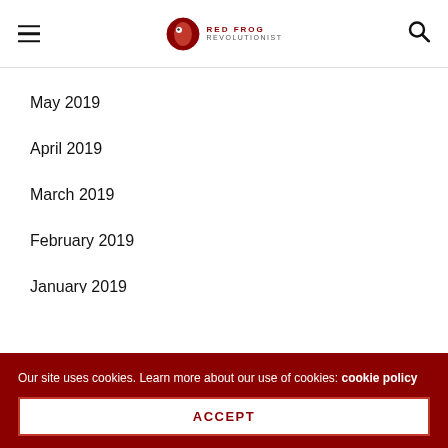Red Frog Revolutionist — Navigation header with hamburger menu and search icon
May 2019
April 2019
March 2019
February 2019
January 2019
December 2018
November 2018
October 2018
Our site uses cookies. Learn more about our use of cookies: cookie policy
ACCEPT